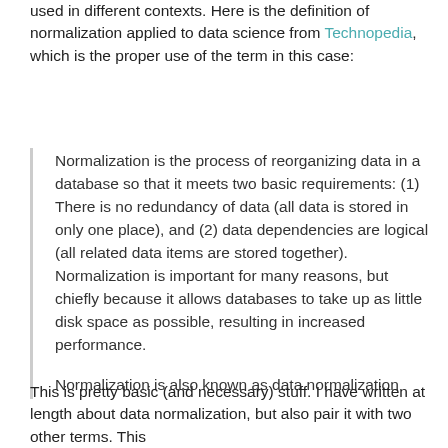used in different contexts. Here is the definition of normalization applied to data science from Technopedia, which is the proper use of the term in this case:
Normalization is the process of reorganizing data in a database so that it meets two basic requirements: (1) There is no redundancy of data (all data is stored in only one place), and (2) data dependencies are logical (all related data items are stored together). Normalization is important for many reasons, but chiefly because it allows databases to take up as little disk space as possible, resulting in increased performance.
Normalization is also known as data normalization
This is pretty basic (and necessary) stuff. I have written at length about data normalization, but also pair it with two other terms. This